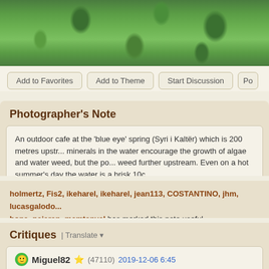[Figure (photo): Outdoor photo showing green leafy plants and water vegetation, appears to be water weed/algae near a spring]
Add to Favorites | Add to Theme | Start Discussion | Po...
Photographer's Note
An outdoor cafe at the 'blue eye' spring (Syri i Kaltër) which is 200 metres upstr... minerals in the water encourage the growth of algae and water weed, but the po... weed further upstream. Even on a hot summer's day the water is a brisk 10c.
holmertz, Fis2, ikeharel, ikeharel, jean113, COSTANTINO, jhm, lucasgalodo... bona, pajaran, mcmtanyel has marked this note useful
Critiques | Translate
Miguel82 (47110) 2019-12-06 6:45